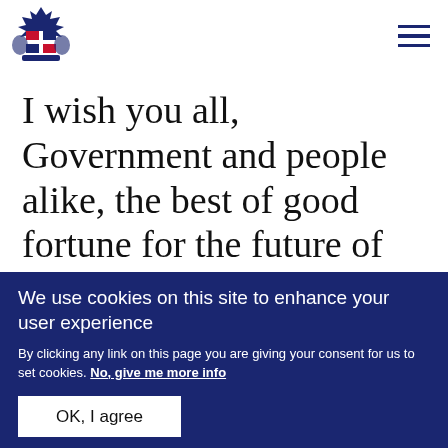[UK Government Crest logo] [Navigation menu icon]
I wish you all, Government and people alike, the best of good fortune for the future of these beautiful islands and of all those whose homes are in
We use cookies on this site to enhance your user experience
By clicking any link on this page you are giving your consent for us to set cookies. No, give me more info
OK, I agree